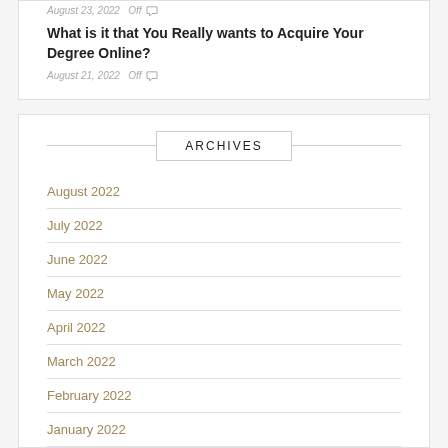August 23, 2022   Off
What is it that You Really wants to Acquire Your Degree Online?
August 21, 2022   Off
ARCHIVES
August 2022
July 2022
June 2022
May 2022
April 2022
March 2022
February 2022
January 2022